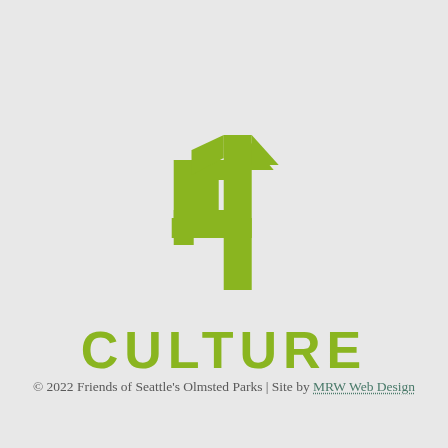[Figure (logo): 4Culture logo: a stylized green number 4 above the word CULTURE in bold green uppercase letters]
© 2022 Friends of Seattle's Olmsted Parks | Site by MRW Web Design